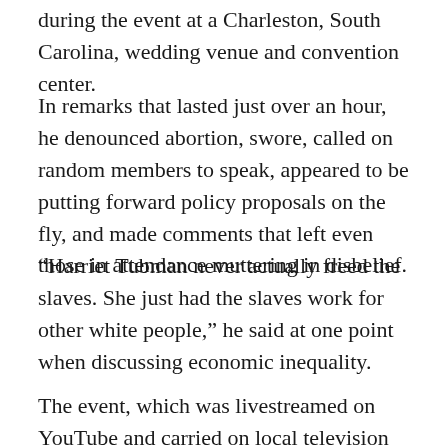during the event at a Charleston, South Carolina, wedding venue and convention center.
In remarks that lasted just over an hour, he denounced abortion, swore, called on random members to speak, appeared to be putting forward policy proposals on the fly, and made comments that left even those in attendance muttering in disbelief.
“Harriet Tubman never actually freed the slaves. She just had the slaves work for other white people,” he said at one point when discussing economic inequality.
The event, which was livestreamed on YouTube and carried on local television stations, did little to clarify